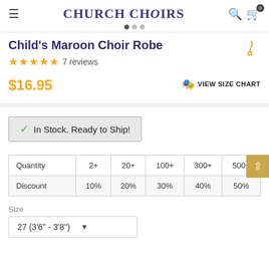ChurchChoirs
Child's Maroon Choir Robe
★★★★★ 7 reviews
$16.95
VIEW SIZE CHART
In Stock. Ready to Ship!
| Quantity | 2+ | 20+ | 100+ | 300+ | 500+ |
| --- | --- | --- | --- | --- | --- |
| Discount | 10% | 20% | 30% | 40% | 50% |
Size
27 (3'6" - 3'8")